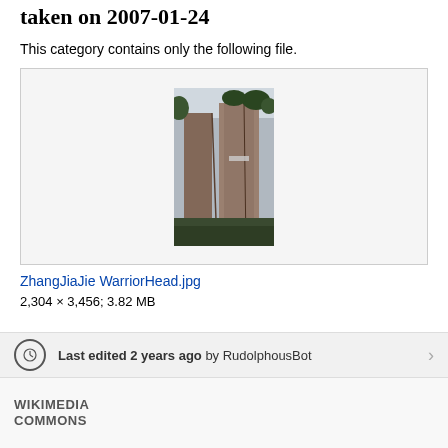taken on 2007-01-24
This category contains only the following file.
[Figure (photo): Thumbnail of ZhangJiaJie WarriorHead.jpg showing rocky cliffs in Zhangjiajie]
ZhangJiaJie WarriorHead.jpg
2,304 × 3,456; 3.82 MB
Last edited 2 years ago by RudolphousBot
WIKIMEDIA COMMONS